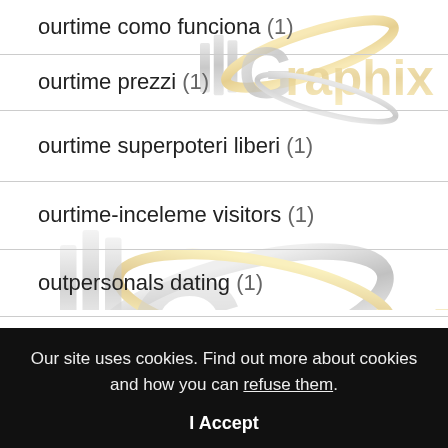ourtime como funciona (1)
ourtime prezzi (1)
ourtime superpoteri liberi (1)
ourtime-inceleme visitors (1)
outpersonals dating (1)
OutPersonals reviews (1)
[Figure (logo): IllGraphix watermark logo repeated — a silver/gold metallic stylized logo with 'IllGraphix' text, appears twice as watermark overlaying the list]
Our site uses cookies. Find out more about cookies and how you can refuse them.
I Accept